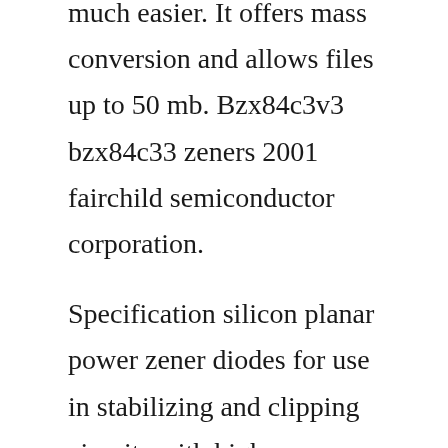much easier. It offers mass conversion and allows files up to 50 mb. Bzx84c3v3 bzx84c33 zeners 2001 fairchild semiconductor corporation.
Specification silicon planar power zener diodes for use in stabilizing and clipping circuits with high power rating body size. The camel hump occurs after the inductor is discharged and the diode ceases conducting. Lowpower voltage regulator diodes in a small sot23 to236ab surfacemounted device smd plastic package. Open your pdf in adobe acrobat pro dc and choose file. It can even